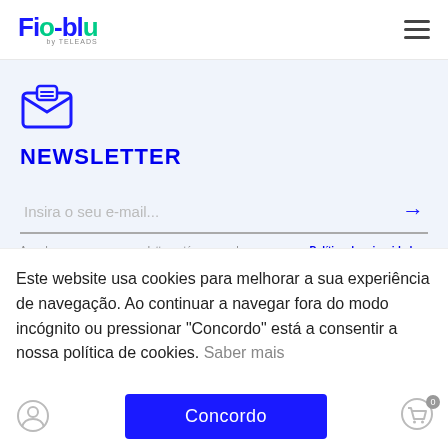[Figure (logo): Fio-blu logo with hamburger menu icon]
[Figure (illustration): Open envelope/newsletter icon in blue outline style]
NEWSLETTER
Insira o seu e-mail...
Ao subscrever a nossa newsletter está a concordar com a nossa Política de privacidade»
LOCALIZAÇÃO
Este website usa cookies para melhorar a sua experiência de navegação. Ao continuar a navegar fora do modo incógnito ou pressionar "Concordo" está a consentir a nossa política de cookies. Saber mais